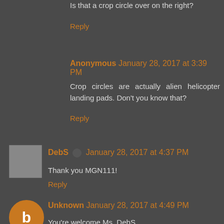Is that a crop circle over on the right?
Reply
Anonymous January 28, 2017 at 3:39 PM
Crop circles are actually alien helicopter landing pads. Don't you know that?
Reply
DebS January 28, 2017 at 4:37 PM
Thank you MGN111!
Reply
Unknown January 28, 2017 at 4:49 PM
You're welcome Ms. DebS
Just telling it like it is.